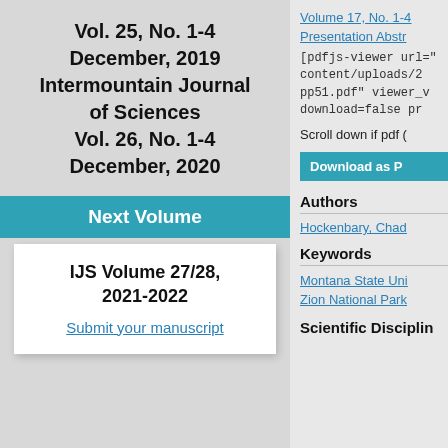Vol. 25, No. 1-4
December, 2019
Intermountain Journal of Sciences
Vol. 26, No. 1-4
December, 2020
Next Volume
IJS Volume 27/28, 2021-2022
Submit your manuscript
Volume 17, No. 1-4
Presentation Abstr
[pdfjs-viewer url="content/uploads/2...pp51.pdf" viewer_v...download=false pr
Scroll down if pdf (
Download as P
Authors
Hockenbary, Chad
Keywords
Montana State Uni
Zion National Park
Scientific Disciplin